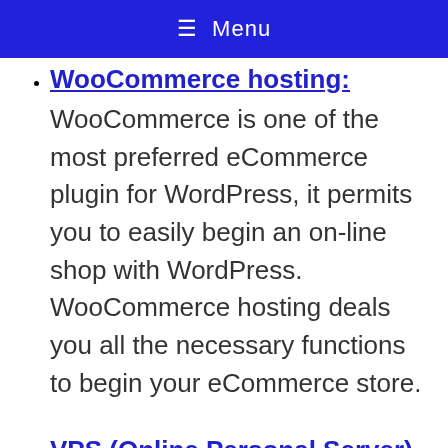≡ Menu
WooCommerce hosting: WooCommerce is one of the most preferred eCommerce plugin for WordPress, it permits you to easily begin an on-line shop with WordPress. WooCommerce hosting deals you all the necessary functions to begin your eCommerce store.
VPS (Online Personal Server)